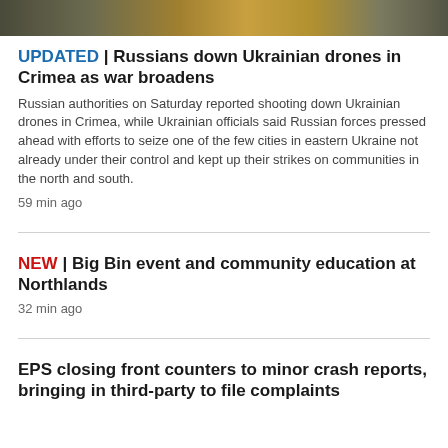[Figure (photo): Cropped photo strip at top of page showing blurred colorful scene]
UPDATED | Russians down Ukrainian drones in Crimea as war broadens
Russian authorities on Saturday reported shooting down Ukrainian drones in Crimea, while Ukrainian officials said Russian forces pressed ahead with efforts to seize one of the few cities in eastern Ukraine not already under their control and kept up their strikes on communities in the north and south.
59 min ago
NEW | Big Bin event and community education at Northlands
32 min ago
EPS closing front counters to minor crash reports, bringing in third-party to file complaints